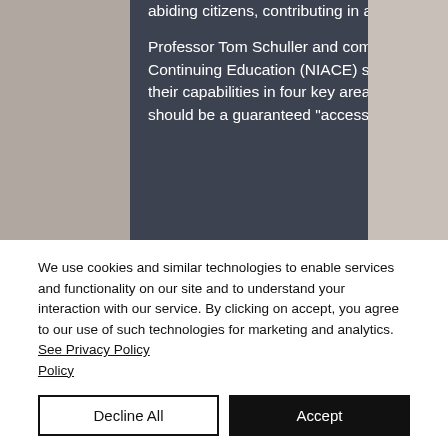[Figure (photo): Webpage screenshot showing a dark navy overlay panel with white text about adult education and capabilities, with a blurred photo background on the right side.]
abiding citizens, contributing in a positive way to society.
Professor Tom Schuller and commissioned by the National Institute of Adult Continuing Education (NIACE) states; "All citizens should have access to develop their capabilities in four key areas: digital, health, financial and civic" and there should be a guaranteed "access...
We use cookies and similar technologies to enable services and functionality on our site and to understand your interaction with our service. By clicking on accept, you agree to our use of such technologies for marketing and analytics. See Privacy Policy
Decline All
Accept
Cookie Settings